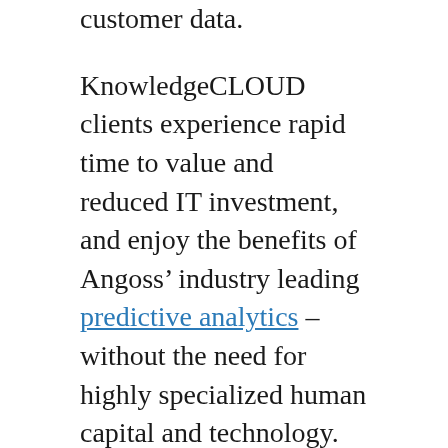customer data.
KnowledgeCLOUD clients experience rapid time to value and reduced IT investment, and enjoy the benefits of Angoss’ industry leading predictive analytics – without the need for highly specialized human capital and technology.
KnowledgeCLOUD solutions serve clients in the asset management, insurance, banking, high tech, healthcare and retail industries. Industry solutions consist of a choice of analytical modules:
[Figure (other): Image placeholder with link text 'KnowledgeCLOUD for' partially visible at bottom of page]